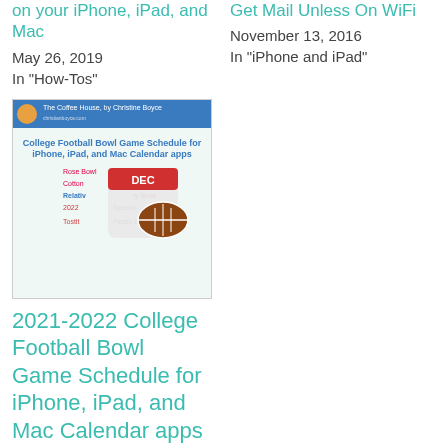on your iPhone, iPad, and Mac
May 26, 2019
In "How-Tos"
Get Mail Unless On WiFi
November 13, 2016
In "iPhone and iPad"
[Figure (screenshot): Thumbnail image for College Football Bowl Game Schedule article showing a calendar icon with DEC and a football]
2021-2022 College Football Bowl Game Schedule for iPhone, iPad, and Mac Calendar apps
[Figure (illustration): Microsoft Word logo icon with blue background and W letter, surrounded by pilcrow/paragraph symbols on blue background]
Here's something else you might like.
How to Show (and Hide) I...